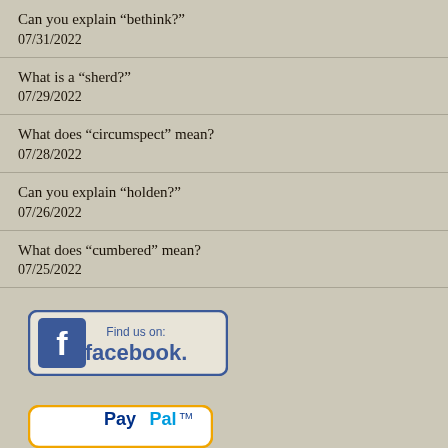Can you explain “bethink?”
07/31/2022
What is a “sherd?”
07/29/2022
What does “circumspect” mean?
07/28/2022
Can you explain “holden?”
07/26/2022
What does “cumbered” mean?
07/25/2022
[Figure (logo): Find us on Facebook badge with blue Facebook logo icon and text 'Find us on: facebook.']
[Figure (logo): PayPal trademark badge with blue PayPal text on white background with orange border]